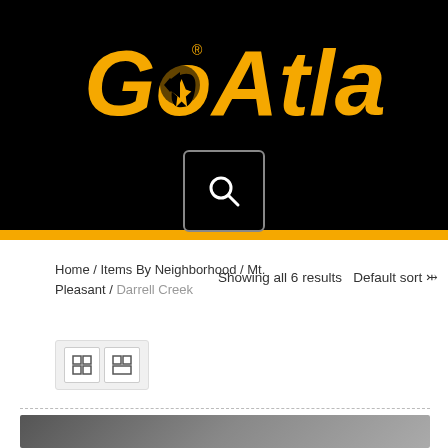[Figure (logo): GoAtlas logo in yellow on black background with registered trademark symbol]
[Figure (screenshot): Search icon (magnifying glass) inside a rounded rectangle box on black background]
Home / Items By Neighborhood / Mt. Pleasant / Darrell Creek
Showing all 6 results
Default sort
[Figure (screenshot): View toggle buttons: grid view and list view icons]
[Figure (photo): Partial photo at the bottom of the page, dark/gray toned image]